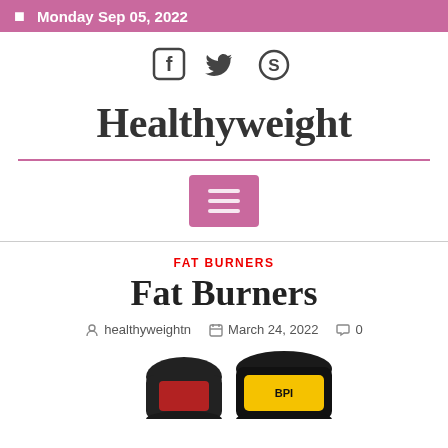Monday Sep 05, 2022
[Figure (illustration): Social media icons: Facebook, Twitter, Skype]
Healthyweight
[Figure (illustration): Pink hamburger/menu button with three horizontal bars]
FAT BURNERS
Fat Burners
healthyweightn   March 24, 2022   0
[Figure (photo): Product bottles of fat burner supplements, partially visible at bottom of page]